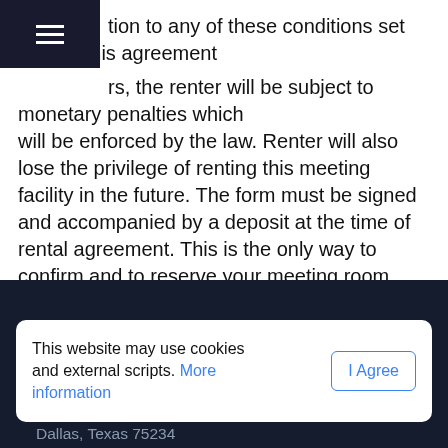tion to any of these conditions set forth in this agreement rs, the renter will be subject to monetary penalties which will be enforced by the law. Renter will also lose the privilege of renting this meeting facility in the future. The form must be signed and accompanied by a deposit at the time of rental agreement. This is the only way to confirm and to reserve your meeting room date and time.
By signing you hereby agree to the rental policies set forth. If violation to any of these conditions set forth in this agreement occurs, the renter will be subject to monetary penalties which will be enforced by the law.
Submit Event Application
This website may use cookies and external scripts. More information
Dallas, Texas 75234